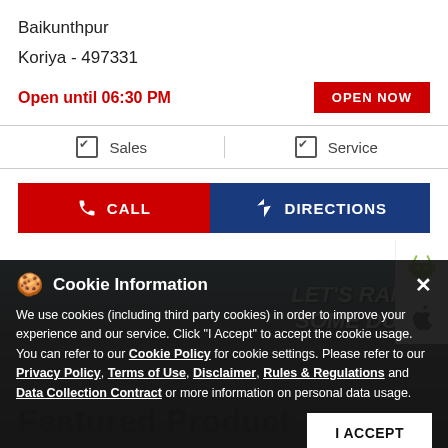Baikunthpur
Koriya - 497331
Open until 06:30 PM
OPEN NOW
✔ Sales
✔ Service
CALL
DIRECTIONS
[Figure (screenshot): Motorcycle promotional image with 'LET'S RAISE SOME DUST' text overlay]
Cookie Information
We use cookies (including third party cookies) in order to improve your experience and our service. Click "I Accept" to accept the cookie usage. You can refer to our Cookie Policy for cookie settings. Please refer to our Privacy Policy, Terms of Use, Disclaimer, Rules & Regulations and Data Collection Contract or more information on personal data usage.
Featured Product
I ACCEPT